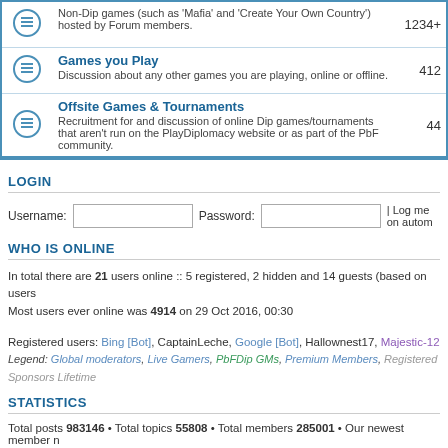|  | Forum | Posts |
| --- | --- | --- |
| [icon] | Non-Dip games (such as 'Mafia' and 'Create Your Own Country') hosted by Forum members. | 1234+ |
| [icon] | Games you Play
Discussion about any other games you are playing, online or offline. | 412 |
| [icon] | Offsite Games & Tournaments
Recruitment for and discussion of online Dip games/tournaments that aren't run on the PlayDiplomacy website or as part of the PbF community. | 44 |
LOGIN
Username:  Password:  | Log me on autom
WHO IS ONLINE
In total there are 21 users online :: 5 registered, 2 hidden and 14 guests (based on users
Most users ever online was 4914 on 29 Oct 2016, 00:30
Registered users: Bing [Bot], CaptainLeche, Google [Bot], Hallownest17, Majestic-12
Legend: Global moderators, Live Gamers, PbFDip GMs, Premium Members, Registered
Sponsors Lifetime
STATISTICS
Total posts 983146 • Total topics 55808 • Total members 285001 • Our newest member n
Board index   The team • Delete all board ...   Powered by phpBB® Forum Software © phpBB Gr